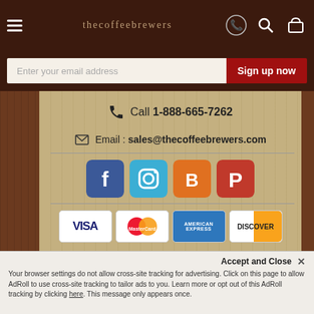Navigation bar with hamburger menu, site title, and icons for phone, search, cart
Enter your email address | Sign up now
Call 1-888-665-7262
Email : sales@thecoffeebrewers.com
[Figure (logo): Social media icons: Facebook, Instagram, Blogger, Pinterest]
[Figure (logo): Payment method logos: VISA, MasterCard, American Express, Discover]
Home   About Us   Privacy Policy   Customer Service   Contact Us   Blog   Testimonials   Terms and Condition   Site Map
Accept and Close ×
Your browser settings do not allow cross-site tracking for advertising. Click on this page to allow AdRoll to use cross-site tracking to tailor ads to you. Learn more or opt out of this AdRoll tracking by clicking here. This message only appears once.